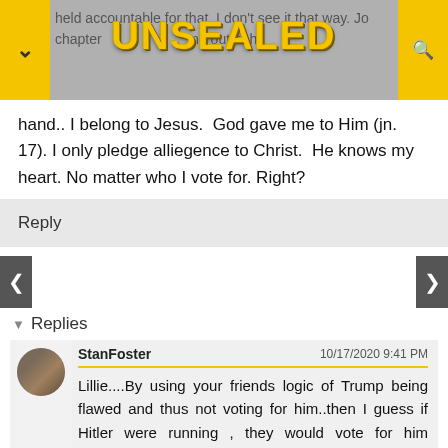[Figure (screenshot): Top navigation bar with grey background showing partial blurred text, yellow left and right nav buttons with chevron and search icons, and UNSEALED logo in gold/yellow metallic text centered at top]
hand.. I belong to Jesus. God gave me to Him (jn. 17). I only pledge alliegence to Christ. He knows my heart. No matter who I vote for. Right?
Reply
▾ Replies
StanFoster   10/17/2020 9:41 PM
Lillie....By using your friends logic of Trump being flawed and thus not voting for him..then I guess if Hitler were running , they would vote for him instead?

I would go with the one that stands for Christian values the most...